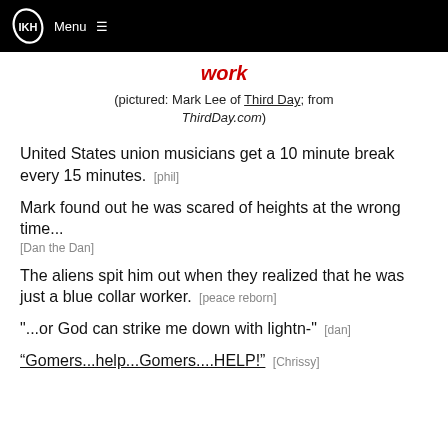IKH Menu ☰
work
(pictured: Mark Lee of Third Day; from ThirdDay.com)
United States union musicians get a 10 minute break every 15 minutes. [phil]
Mark found out he was scared of heights at the wrong time... [Dan the Dan]
The aliens spit him out when they realized that he was just a blue collar worker. [peace reborn]
"...or God can strike me down with lightn-" [dan]
"Gomers...help...Gomers....HELP!" [Chrissy]